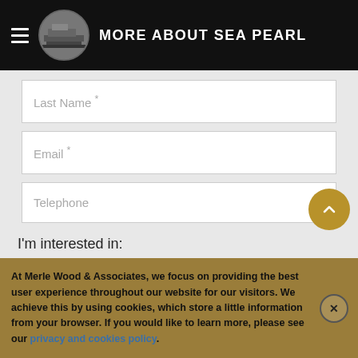MORE ABOUT SEA PEARL
Last Name *
Email *
Telephone
I'm interested in:
Chartering a yacht
Buying a yacht (partial)
At Merle Wood & Associates, we focus on providing the best user experience throughout our website for our visitors. We achieve this by using cookies, which store a little information from your browser. If you would like to learn more, please see our privacy and cookies policy.